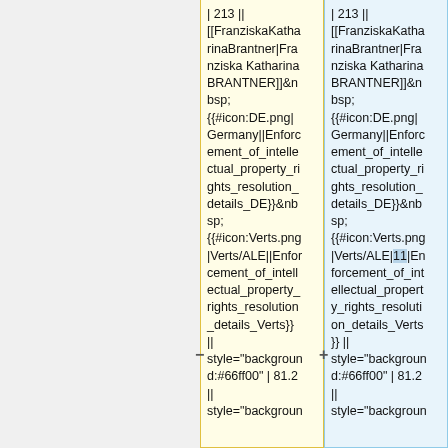| 213 || [[FranziskaKatharinaBrantner|Franziska Katharina BRANTNER]]&nbsp; {{#icon:DE.png|Germany||Enforcement_of_intellectual_property_rights_resolution_details_DE}}&nbsp; {{#icon:Verts.png|Verts/ALE||Enforcement_of_intellectual_property_rights_resolution_details_Verts}} || style="background:#66ff00" | 81.2 || style="backgroun
| 213 || [[FranziskaKatharinaBrantner|Franziska Katharina BRANTNER]]&nbsp; {{#icon:DE.png|Germany||Enforcement_of_intellectual_property_rights_resolution_details_DE}}&nbsp; {{#icon:Verts.png|Verts/ALE|11|Enforcement_of_intellectual_property_rights_resolution_details_Verts}} || style="background:#66ff00" | 81.2 || style="backgroun